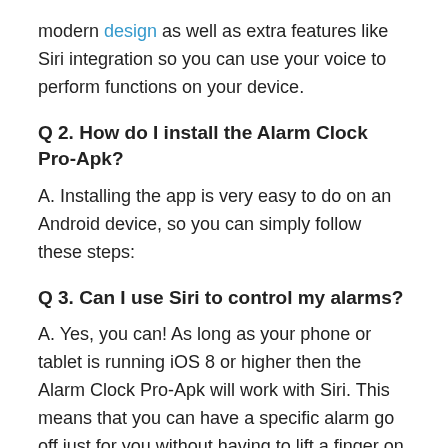modern design as well as extra features like Siri integration so you can use your voice to perform functions on your device.
Q 2. How do I install the Alarm Clock Pro-Apk?
A. Installing the app is very easy to do on an Android device, so you can simply follow these steps:
Q 3. Can I use Siri to control my alarms?
A. Yes, you can! As long as your phone or tablet is running iOS 8 or higher then the Alarm Clock Pro-Apk will work with Siri. This means that you can have a specific alarm go off just for you without having to lift a finger on